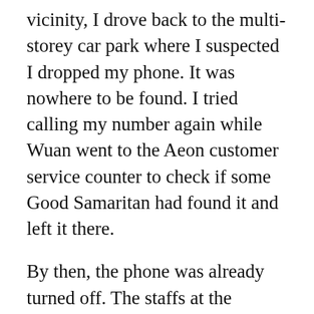vicinity, I drove back to the multi-storey car park where I suspected I dropped my phone. It was nowhere to be found. I tried calling my number again while Wuan went to the Aeon customer service counter to check if some Good Samaritan had found it and left it there.
By then, the phone was already turned off. The staffs at the customer service counter were not very helpful and sympathetic, and did not offer to assist her further. The security office said that if we want to view the CCTV, we have to produce a police report. Not wanting to waste time arguing with them, she retraced our steps back to Hainan Tea Garden without any luck. However, I will definitely be going back with a